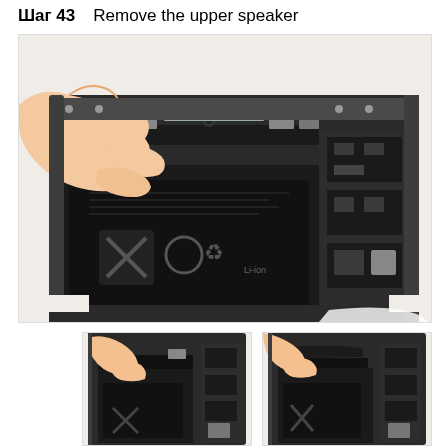Шаг 43   Remove the upper speaker
[Figure (photo): Main photo showing a hand lifting the upper speaker component from an open iPad, revealing the battery and logic board. The speaker assembly is being pulled from the top edge of the device.]
[Figure (photo): Thumbnail image showing close-up of the speaker removal process from the iPad interior, left angle.]
[Figure (photo): Thumbnail image showing close-up of the speaker removal process from the iPad interior, right angle.]